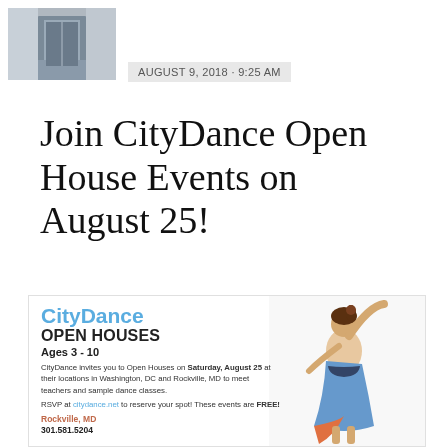[Figure (photo): Photo of a reflective water feature or architectural structure, gray tones]
AUGUST 9, 2018 · 9:25 AM
Join CityDance Open House Events on August 25!
[Figure (infographic): CityDance Open Houses promotional flyer. Ages 3-10. CityDance invites you to Open Houses on Saturday, August 25 at their locations in Washington, DC and Rockville, MD to meet teachers and sample dance classes. RSVP at citydance.net to reserve your spot! These events are FREE! Rockville, MD 301.581.5204. Features a girl dancer with arm raised.]